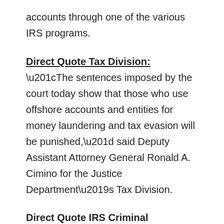accounts through one of the various IRS programs.
Direct Quote Tax Division: “The sentences imposed by the court today show that those who use offshore accounts and entities for money laundering and tax evasion will be punished,” said Deputy Assistant Attorney General Ronald A. Cimino for the Justice Department’s Tax Division.
Direct Quote IRS Criminal